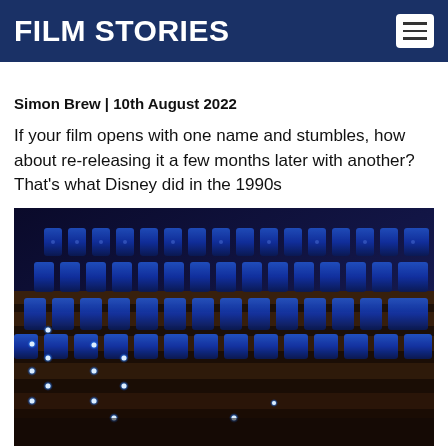FILM STORIES
Simon Brew | 10th August 2022
If your film opens with one name and stumbles, how about re-releasing it a few months later with another? That's what Disney did in the 1990s
[Figure (photo): Interior of a cinema showing blue upholstered seats arranged in rows on stepped/tiered flooring with small blue LED lights along the aisle steps, photographed in dim blue lighting]